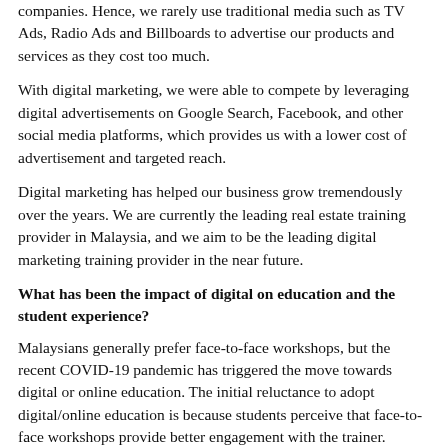companies. Hence, we rarely use traditional media such as TV Ads, Radio Ads and Billboards to advertise our products and services as they cost too much.
With digital marketing, we were able to compete by leveraging digital advertisements on Google Search, Facebook, and other social media platforms, which provides us with a lower cost of advertisement and targeted reach.
Digital marketing has helped our business grow tremendously over the years. We are currently the leading real estate training provider in Malaysia, and we aim to be the leading digital marketing training provider in the near future.
What has been the impact of digital on education and the student experience?
Malaysians generally prefer face-to-face workshops, but the recent COVID-19 pandemic has triggered the move towards digital or online education. The initial reluctance to adopt digital/online education is because students perceive that face-to-face workshops provide better engagement with the trainer.
However, once students have experienced the online learning management system, they are able to accept the method of